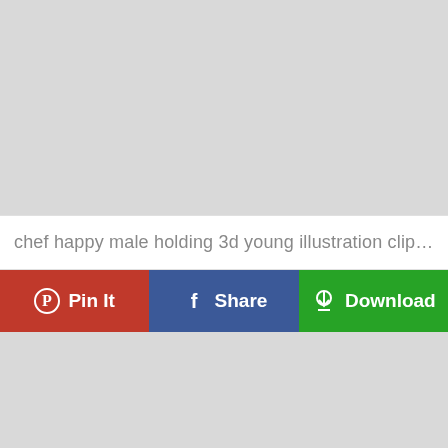[Figure (illustration): Large light gray placeholder image area at the top of the page]
chef happy male holding 3d young illustration clipart ro...
Pin It
Share
Download
[Figure (illustration): Light gray placeholder image area at the bottom of the page]